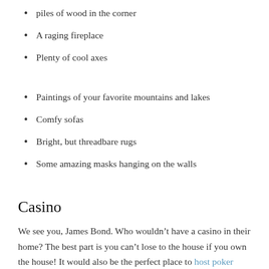piles of wood in the corner
A raging fireplace
Plenty of cool axes
Paintings of your favorite mountains and lakes
Comfy sofas
Bright, but threadbare rugs
Some amazing masks hanging on the walls
Casino
We see you, James Bond. Who wouldn’t have a casino in their home? The best part is you can’t lose to the house if you own the house! It would also be the perfect place to host poker night.  A room like this is crying out for a well-stocked bar, plush red velvet seats, and a